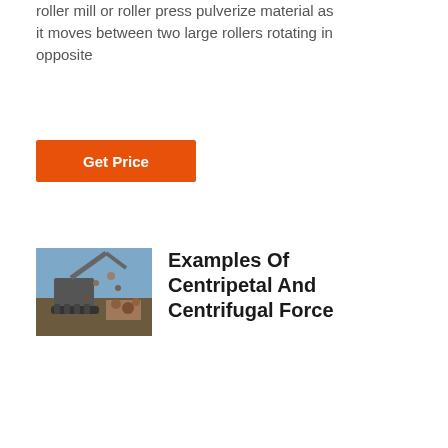roller mill or roller press pulverize material as it moves between two large rollers rotating in opposite
Get Price
[Figure (photo): Construction or mining equipment with machinery operating outdoors]
Examples Of Centripetal And Centrifugal Force
2020 4 2 common examples of centrifugal force are centrifuges centrifugal pumps centrifugal governors and centrifugal clutches and centrifugal railways planetary orbits and banked curves the reaction of the centripetal force is called the centrifugal force consider a stone which is tied to a string moving in a circle
Get Price